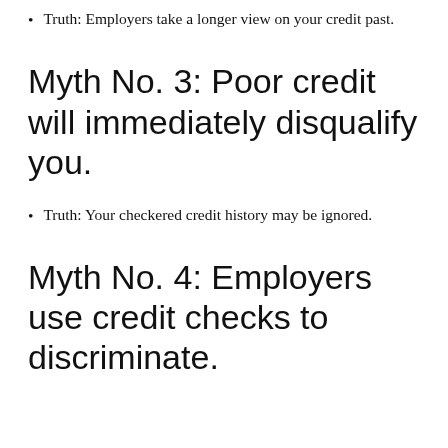Truth: Employers take a longer view on your credit past.
Myth No. 3: Poor credit will immediately disqualify you.
Truth: Your checkered credit history may be ignored.
Myth No. 4: Employers use credit checks to discriminate.